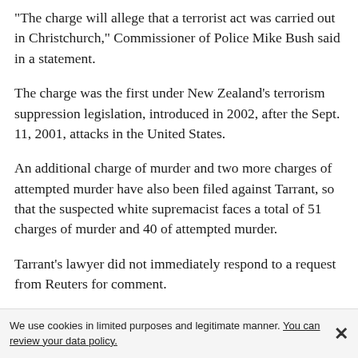"The charge will allege that a terrorist act was carried out in Christchurch," Commissioner of Police Mike Bush said in a statement.
The charge was the first under New Zealand's terrorism suppression legislation, introduced in 2002, after the Sept. 11, 2001, attacks in the United States.
An additional charge of murder and two more charges of attempted murder have also been filed against Tarrant, so that the suspected white supremacist faces a total of 51 charges of murder and 40 of attempted murder.
Tarrant's lawyer did not immediately respond to a request from Reuters for comment.
Legal experts said any conviction for engaging in terrorism would not make much practical difference, given murder charges
We use cookies in limited purposes and legitimate manner. You can review your data policy. ✕